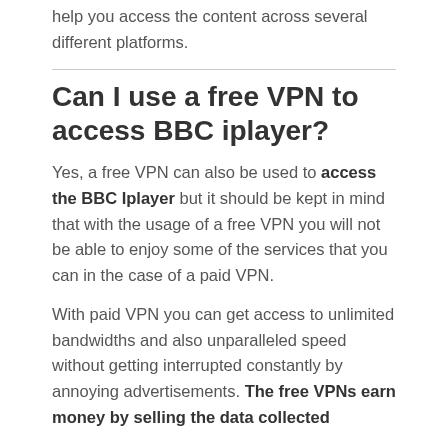help you access the content across several different platforms.
Can I use a free VPN to access BBC iplayer?
Yes, a free VPN can also be used to access the BBC Iplayer but it should be kept in mind that with the usage of a free VPN you will not be able to enjoy some of the services that you can in the case of a paid VPN.
With paid VPN you can get access to unlimited bandwidths and also unparalleled speed without getting interrupted constantly by annoying advertisements. The free VPNs earn money by selling the data collected